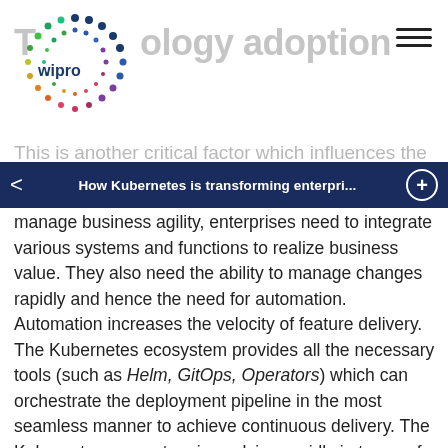Technology adoption
[Figure (logo): Wipro logo with colorful dot circle pattern]
This is another critical factor which influences the
How Kubernetes is transforming enterpri...
manage business agility, enterprises need to integrate various systems and functions to realize business value. They also need the ability to manage changes rapidly and hence the need for automation. Automation increases the velocity of feature delivery. The Kubernetes ecosystem provides all the necessary tools (such as Helm, GitOps, Operators) which can orchestrate the deployment pipeline in the most seamless manner to achieve continuous delivery. The Kubernetes ecosystem is evolving rapidly in terms of abstracting technology complexities as well as